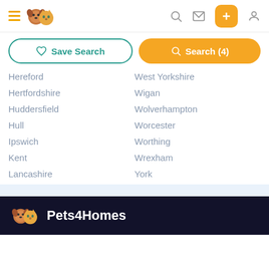Pets4Homes navigation header with hamburger menu, logo, search, mail, add, and profile icons
Save Search | Search (4)
Hereford
West Yorkshire
Hertfordshire
Wigan
Huddersfield
Wolverhampton
Hull
Worcester
Ipswich
Worthing
Kent
Wrexham
Lancashire
York
Pets4Homes